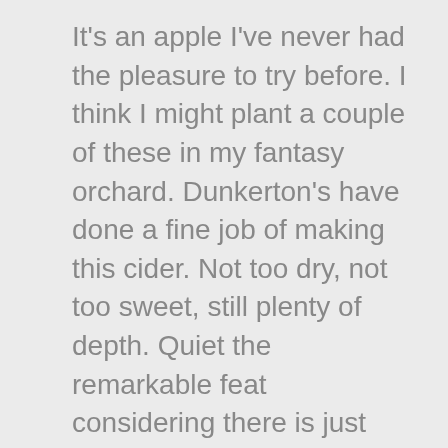It's an apple I've never had the pleasure to try before. I think I might plant a couple of these in my fantasy orchard. Dunkerton's have done a fine job of making this cider. Not too dry, not too sweet, still plenty of depth. Quiet the remarkable feat considering there is just one apple in the bottle.